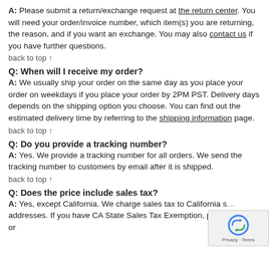A: Please submit a return/exchange request at the return center. You will need your order/invoice number, which item(s) you are returning, the reason, and if you want an exchange. You may also contact us if you have further questions.
back to top ↑
Q: When will I receive my order?
A: We usually ship your order on the same day as you place your order on weekdays if you place your order by 2PM PST. Delivery days depends on the shipping option you choose. You can find out the estimated delivery time by referring to the shipping information page.
back to top ↑
Q: Do you provide a tracking number?
A: Yes. We provide a tracking number for all orders. We send the tracking number to customers by email after it is shipped.
back to top ↑
Q: Does the price include sales tax?
A: Yes, except California. We charge sales tax to California s... addresses. If you have CA State Sales Tax Exemption, please email or